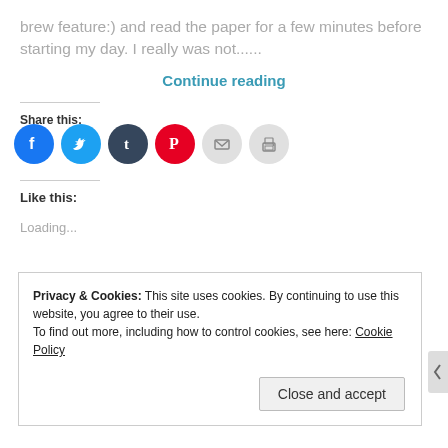brew feature:) and read the paper for a few minutes before starting my day. I really was not......
Continue reading
Share this:
[Figure (infographic): Six social sharing icon circles: Facebook (blue), Twitter (light blue), Tumblr (dark blue), Pinterest (red), Email (light grey), Print (light grey)]
Like this:
Loading...
Privacy & Cookies: This site uses cookies. By continuing to use this website, you agree to their use.
To find out more, including how to control cookies, see here: Cookie Policy
Close and accept